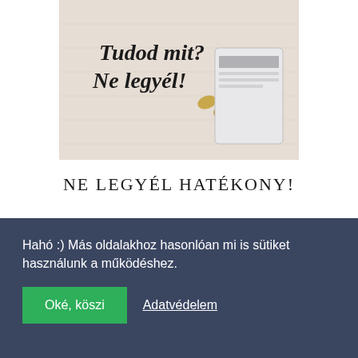[Figure (photo): Photo with bold italic text overlay reading 'Tudod mit? Ne legyél!' on a light beige/wood background with golden binder clips and a planner/notebook visible]
NE LEGYÉL HATÉKONY!
MÉG TÖBB HASONLÓ CIKK
Hahó :) Más oldalakhoz hasonlóan mi is sütiket használunk a működéshez.
Oké, köszi
Adatvédelem